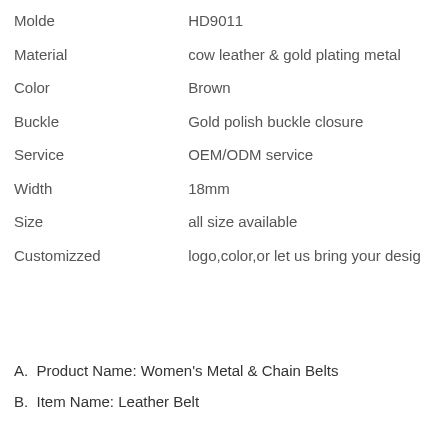| Property | Value |
| --- | --- |
| Molde | HD9011 |
| Material | cow leather & gold plating metal |
| Color | Brown |
| Buckle | Gold polish buckle closure |
| Service | OEM/ODM service |
| Width | 18mm |
| Size | all size available |
| Customizzed | logo,color,or let us bring your design |
A.  Product Name: Women's Metal & Chain Belts
B.  Item Name: Leather Belt